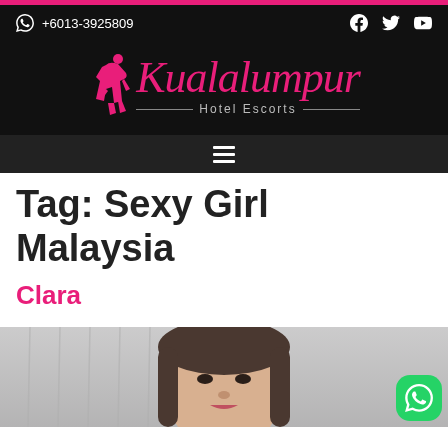+6013-3925809
[Figure (logo): Kuala Lumpur Hotel Escorts logo with pink silhouette figure and pink script text 'Kualalumpur Hotel Escorts' on black background]
Tag: Sexy Girl Malaysia
Clara
[Figure (photo): Photo of a young woman with long dark hair, face visible from nose up, against a light curtain background]